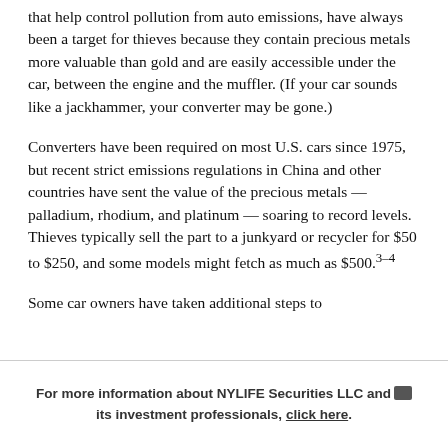that help control pollution from auto emissions, have always been a target for thieves because they contain precious metals more valuable than gold and are easily accessible under the car, between the engine and the muffler. (If your car sounds like a jackhammer, your converter may be gone.)
Converters have been required on most U.S. cars since 1975, but recent strict emissions regulations in China and other countries have sent the value of the precious metals — palladium, rhodium, and platinum — soaring to record levels. Thieves typically sell the part to a junkyard or recycler for $50 to $250, and some models might fetch as much as $500.3–4
Some car owners have taken additional steps to
For more information about NYLIFE Securities LLC and its investment professionals, click here.